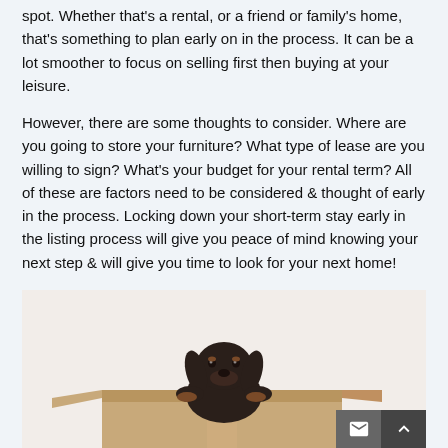spot. Whether that's a rental, or a friend or family's home, that's something to plan early on in the process. It can be a lot smoother to focus on selling first then buying at your leisure.
However, there are some thoughts to consider. Where are you going to store your furniture? What type of lease are you willing to sign? What's your budget for your rental term? All of these are factors need to be considered & thought of early in the process. Locking down your short-term stay early in the listing process will give you peace of mind knowing your next step & will give you time to look for your next home!
[Figure (photo): A dachshund dog sitting inside a cardboard moving box, looking over the edge. Light neutral background.]